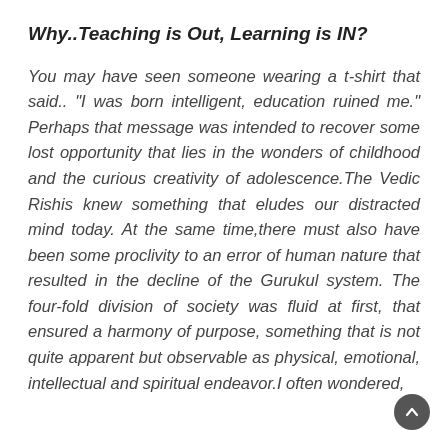Why..Teaching is Out, Learning is IN?
You may have seen someone wearing a t-shirt that said.. "I was born intelligent, education ruined me." Perhaps that message was intended to recover some lost opportunity that lies in the wonders of childhood and the curious creativity of adolescence.The Vedic Rishis knew something that eludes our distracted mind today. At the same time,there must also have been some proclivity to an error of human nature that resulted in the decline of the Gurukul system. The four-fold division of society was fluid at first, that ensured a harmony of purpose, something that is not quite apparent but observable as physical, emotional, intellectual and spiritual endeavor.I often wondered,